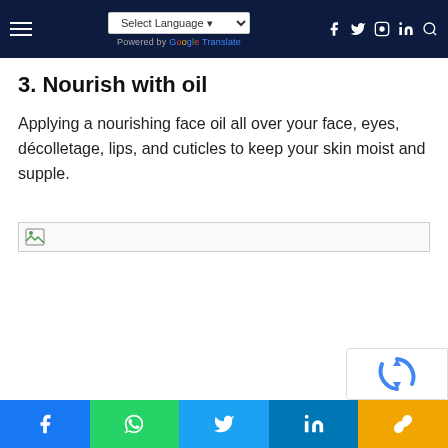Select Language — Powered by Google Translate — navigation icons
3. Nourish with oil
Applying a nourishing face oil all over your face, eyes, décolletage, lips, and cuticles to keep your skin moist and supple.
[Figure (photo): Broken image placeholder for a photo related to nourishing with oil]
Social share buttons: Facebook, WhatsApp, Twitter, LinkedIn, Copy link